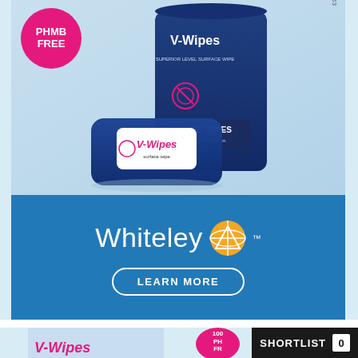[Figure (photo): Advertisement for V-Wipes by Whiteley. Top section shows V-Wipes product packages on light blue background with a pink circle badge reading 'PHMB FREE' and a vertical text 'ART G NO.: 354053'. Bottom section is a blue bar with Whiteley logo (white text and orange globe icon with TM) and a 'LEARN MORE' button with rounded border. A second partial ad is visible at the bottom showing V-Wipes branding in pink with a pink circle and a black 'SHORTLIST 0' badge.]